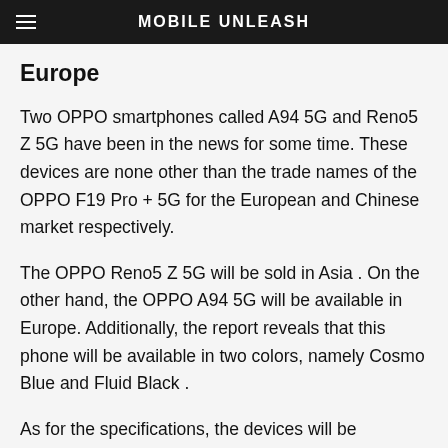MOBILE UNLEASH
Europe
Two OPPO smartphones called A94 5G and Reno5 Z 5G have been in the news for some time. These devices are none other than the trade names of the OPPO F19 Pro + 5G for the European and Chinese market respectively.
The OPPO Reno5 Z 5G will be sold in Asia . On the other hand, the OPPO A94 5G will be available in Europe. Additionally, the report reveals that this phone will be available in two colors, namely Cosmo Blue and Fluid Black .
As for the specifications, the devices will be powered